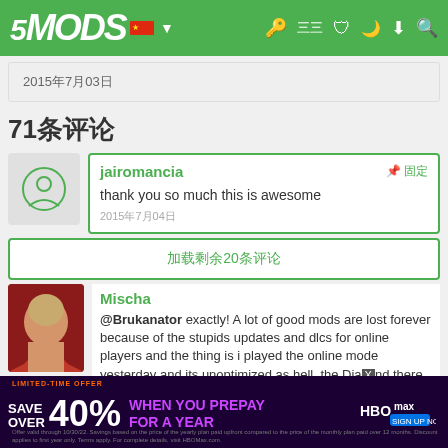5MODS
2015年7月03日
71条评论
jairomancia
thank you so much this is awesome
2015年7月04日
加载剩余20条评论
Mischa
@Brukanator exactly! A lot of good mods are lost forever because of the stupids updates and dlcs for online players and the thing is i played the online mode yesterday and its unoptimized as hell, the Dia…nd there …e two …ame
[Figure (screenshot): HBO Max advertisement banner: Save over 40% when you prepay for a year. Limited-time offer. Purple/dark background.]